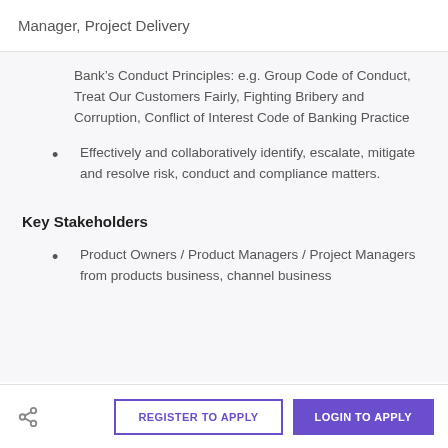Manager, Project Delivery
Bank&rsquos Conduct Principles: e.g. Group Code of Conduct, Treat Our Customers Fairly, Fighting Bribery and Corruption, Conflict of Interest Code of Banking Practice
Effectively and collaboratively identify, escalate, mitigate and resolve risk, conduct and compliance matters.
Key Stakeholders
Product Owners / Product Managers / Project Managers from products business, channel business